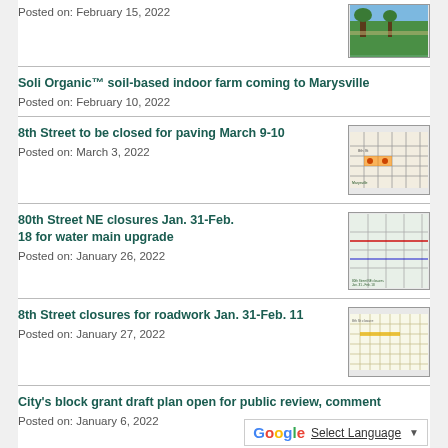Posted on: February 15, 2022
[Figure (photo): Photo of a park with trees, walkway, and green lawn]
Soli Organic™ soil-based indoor farm coming to Marysville
Posted on: February 10, 2022
8th Street to be closed for paving March 9-10
Posted on: March 3, 2022
[Figure (map): Map showing 8th Street closed for paving]
80th Street NE closures Jan. 31-Feb. 18 for water main upgrade
Posted on: January 26, 2022
[Figure (map): Map showing 80th Street NE closures]
8th Street closures for roadwork Jan. 31-Feb. 11
Posted on: January 27, 2022
[Figure (map): Map showing 8th Street closure area for roadwork]
City's block grant draft plan open for public review, comment
Posted on: January 6, 2022